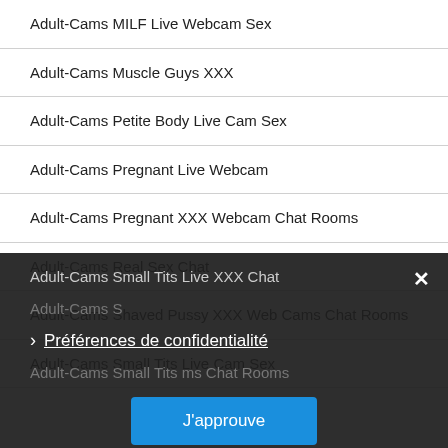Adult-Cams MILF Live Webcam Sex
Adult-Cams Muscle Guys XXX
Adult-Cams Petite Body Live Cam Sex
Adult-Cams Pregnant Live Webcam
Adult-Cams Pregnant XXX Webcam Chat Rooms
Adult-Cams Real Sex Chat
Adult-Cams Shaved Pussy XXX Web Cams Chat Rooms
Adult-Cams Small Tits Live Cam Sex
Adult-Cams Small Tits Live XXX Chat
Adult-Cams S[obscured by overlay]
Adult-Cams Small Tits [obscured] ms Chat Rooms
Préférences de confidentialité
J'approuve